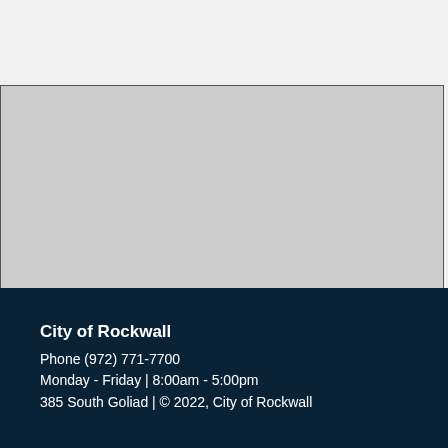[Figure (photo): Large placeholder image area with light gray fill and dark border, representing a photograph of the City of Rockwall]
City of Rockwall
Phone (972) 771-7700
Monday - Friday | 8:00am - 5:00pm
385 South Goliad | © 2022, City of Rockwall